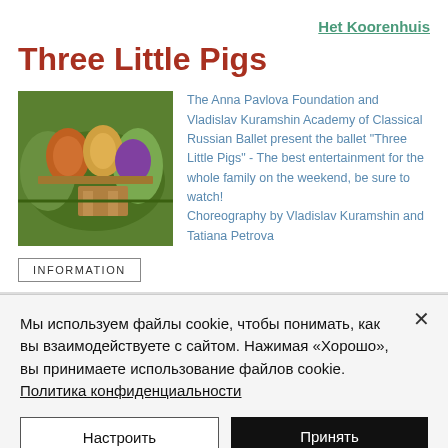Het Koorenhuis
Three Little Pigs
[Figure (photo): Ballet performance photo showing costumed dancers outdoors on a bench]
The Anna Pavlova Foundation and Vladislav Kuramshin Academy of Classical Russian Ballet present the ballet "Three Little Pigs" - The best entertainment for the whole family on the weekend, be sure to watch!
Choreography by Vladislav Kuramshin and Tatiana Petrova
INFORMATION
Мы используем файлы cookie, чтобы понимать, как вы взаимодействуете с сайтом. Нажимая «Хорошо», вы принимаете использование файлов cookie. Политика конфиденциальности
Настроить
Принять